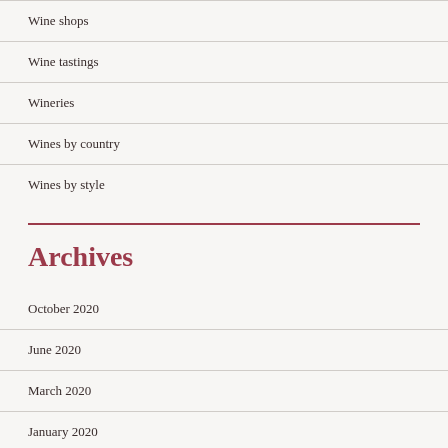Wine shops
Wine tastings
Wineries
Wines by country
Wines by style
Archives
October 2020
June 2020
March 2020
January 2020